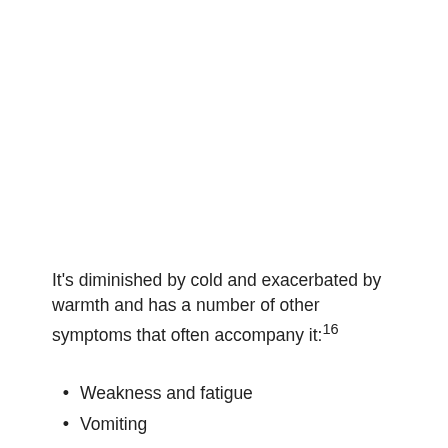It's diminished by cold and exacerbated by warmth and has a number of other symptoms that often accompany it:16
Weakness and fatigue
Vomiting